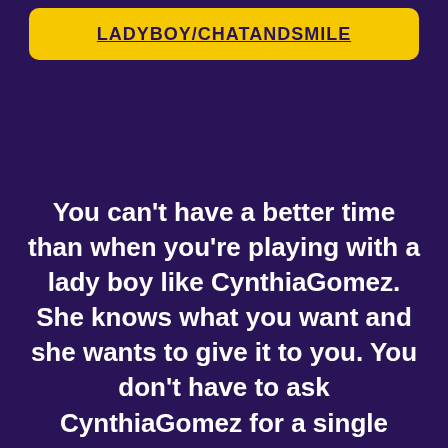[Figure (other): Yellow button with dark purple uppercase underlined text]
You can't have a better time than when you're playing with a lady boy like CynthiaGomez. She knows what you want and she wants to give it to you. You don't have to ask CynthiaGomez for a single thing. She knows what it takes to get you off and CynthiaGomez